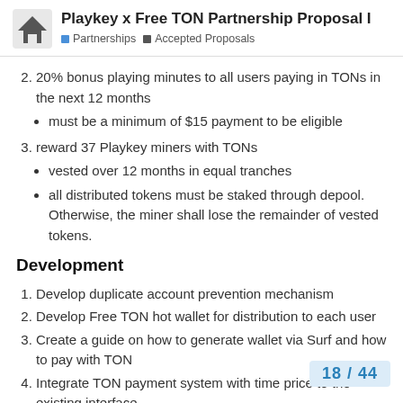Playkey x Free TON Partnership Proposal I — Partnerships | Accepted Proposals
2. 20% bonus playing minutes to all users paying in TONs in the next 12 months
• must be a minimum of $15 payment to be eligible
3. reward 37 Playkey miners with TONs
• vested over 12 months in equal tranches
• all distributed tokens must be staked through depool. Otherwise, the miner shall lose the remainder of vested tokens.
Development
1. Develop duplicate account prevention mechanism
2. Develop Free TON hot wallet for distribution to each user
3. Create a guide on how to generate wallet via Surf and how to pay with TON
4. Integrate TON payment system with time price to the existing interface
18 / 44